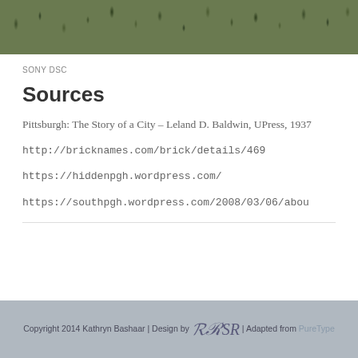[Figure (photo): Partial photograph of grass/ground, cropped at top of page]
SONY DSC
Sources
Pittsburgh: The Story of a City – Leland D. Baldwin, University of Pittsburgh Press, 1937
http://bricknames.com/brick/details/469
https://hiddenpgh.wordpress.com/
https://southpgh.wordpress.com/2008/03/06/about
Copyright 2014 Kathryn Bashaar | Design by SR | Adapted from PureType